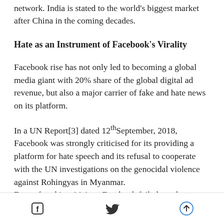network. India is stated to the world's biggest market after China in the coming decades.
Hate as an Instrument of Facebook's Virality
Facebook rise has not only led to becoming a global media giant with 20% share of the global digital ad revenue, but also a major carrier of fake and hate news on its platform.
In a UN Report[3] dated 12th September, 2018, Facebook was strongly criticised for its providing a platform for hate speech and its refusal to cooperate with the UN investigations on the genocidal violence against Rohingyas in Myanmar. Even after this criticism, Facebook failed to take
Facebook Twitter Share